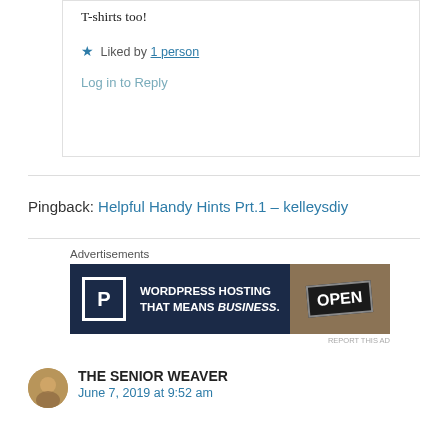T-shirts too!
★ Liked by 1 person
Log in to Reply
Pingback: Helpful Handy Hints Prt.1 – kelleysdiy
Advertisements
[Figure (other): WordPress hosting advertisement banner with text: WORDPRESS HOSTING THAT MEANS BUSINESS. and an OPEN sign image on the right.]
REPORT THIS AD
THE SENIOR WEAVER
June 7, 2019 at 9:52 am
the text is cut off at the bottom of the page